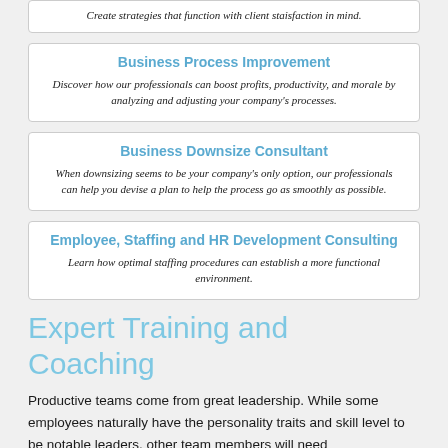Create strategies that function with client staisfaction in mind.
Business Process Improvement
Discover how our professionals can boost profits, productivity, and morale by analyzing and adjusting your company's processes.
Business Downsize Consultant
When downsizing seems to be your company's only option, our professionals can help you devise a plan to help the process go as smoothly as possible.
Employee, Staffing and HR Development Consulting
Learn how optimal staffing procedures can establish a more functional environment.
Expert Training and Coaching
Productive teams come from great leadership. While some employees naturally have the personality traits and skill level to be notable leaders, other team members will need